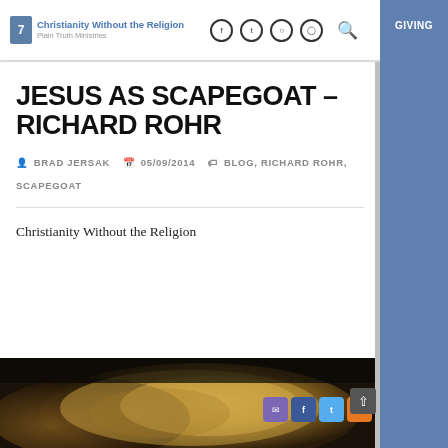Christianity Without the Religion — Plain Truth Ministries
JESUS AS SCAPEGOAT – RICHARD ROHR
BRAD JERSAK   05/09/2014   BLOG, RICHARD ROHR, SCAPEGOAT
Christianity Without the Religion
[Figure (photo): Close-up photograph of what appears to be a golden/brown woolly animal, likely a goat, photographed in low light with warm tones]